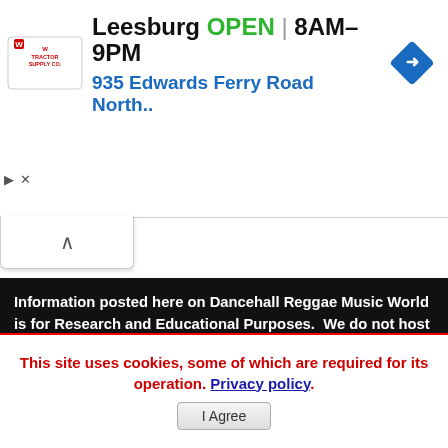[Figure (screenshot): Advertisement banner for Tractor Supply Co showing Leesburg store OPEN 8AM-9PM at 935 Edwards Ferry Road North, with blue navigation diamond icon]
Information posted here on Dancehall Reggae Music World is for Research and Educational Purposes. We do not host any files on our site. Limited copyright is granted for you to use and/or republish any story on this site for any legitimate media or Educational purpose as long as you reference dancehallreggaeworld.com. Please make sure to read our Terms and conditions prior to contacting us. If you wish to submit your own press release, click here.
This site uses cookies, some of which are required for its operation. Privacy policy.